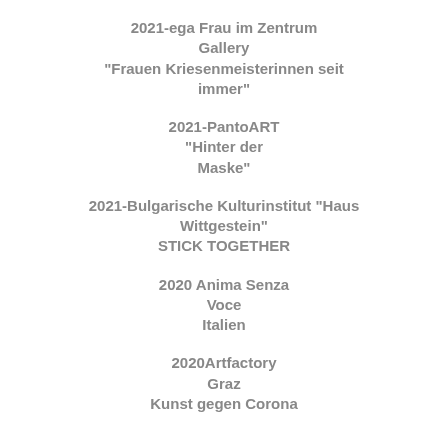2021-ega Frau im Zentrum Gallery "Frauen Kriesenmeisterinnen seit immer"
2021-PantoART "Hinter der Maske"
2021-Bulgarische Kulturinstitut "Haus Wittgestein" STICK TOGETHER
2020 Anima Senza Voce Italien
2020Artfactory Graz Kunst gegen Corona